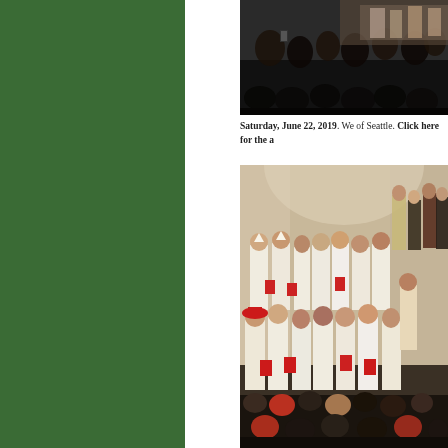[Figure (photo): Top photo showing audience members at what appears to be a church or religious ceremony, viewed from behind]
Saturday, June 22, 2019. We of Seattle. Click here for the a
[Figure (photo): Large photo of a religious procession with clergy in white robes and red caps walking through a cathedral, with audience seated in pews]